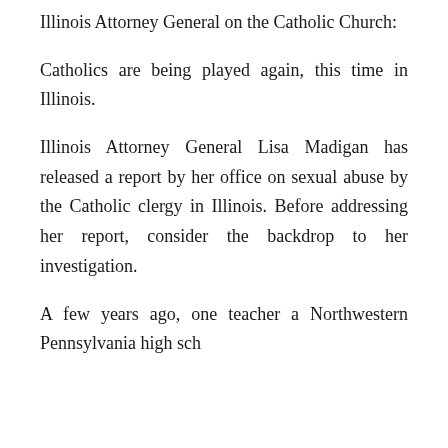Illinois Attorney General on the Catholic Church:
Catholics are being played again, this time in Illinois.
Illinois Attorney General Lisa Madigan has released a report by her office on sexual abuse by the Catholic clergy in Illinois. Before addressing her report, consider the backdrop to her investigation.
A few years ago, one teacher a Northwestern Pennsylvania high sch